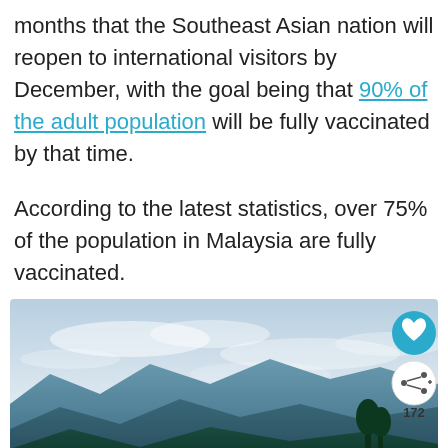months that the Southeast Asian nation will reopen to international visitors by December, with the goal being that 90% of the adult population will be fully vaccinated by that time.
According to the latest statistics, over 75% of the population in Malaysia are fully vaccinated.
[Figure (photo): Scenic landscape photo of rolling green hills and mountains in Malaysia under a pale sky, with a heart/like button, share button showing count 172, and a 'What's Next' panel showing Malaysia Planning To...]